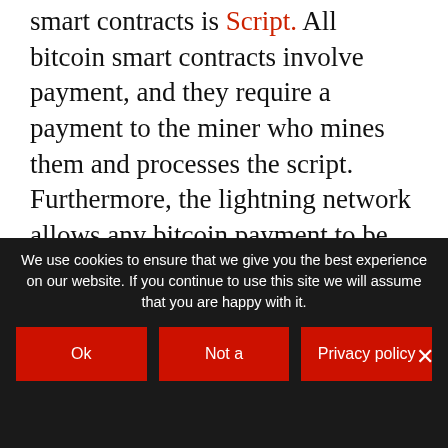smart contracts is Script. All bitcoin smart contracts involve payment, and they require a payment to the miner who mines them and processes the script. Furthermore, the lightning network allows any bitcoin payment to be done via payment channels. To that extent, lapps are similar to dapps.

Additionally, Lapps are also unlike dapps in several ways. Dapps are written in Solidity instead of Script. Solidity allows for instruction recursion, which is a powerful programming
We use cookies to ensure that we give you the best experience on our website. If you continue to use this site we will assume that you are happy with it.
Ok
Not a
Privacy policy